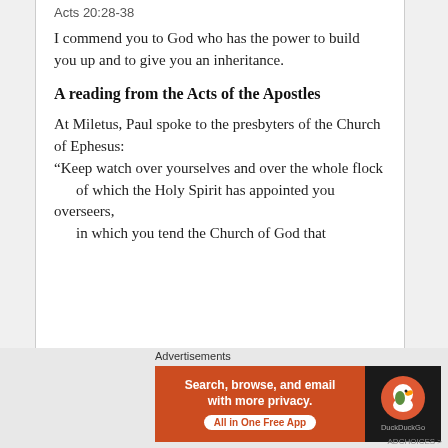Acts 20:28-38
I commend you to God who has the power to build you up and to give you an inheritance.
A reading from the Acts of the Apostles
At Miletus, Paul spoke to the presbyters of the Church of Ephesus:
“Keep watch over yourselves and over the whole flock
   of which the Holy Spirit has appointed you overseers,
   in which you tend the Church of God that
Advertisements